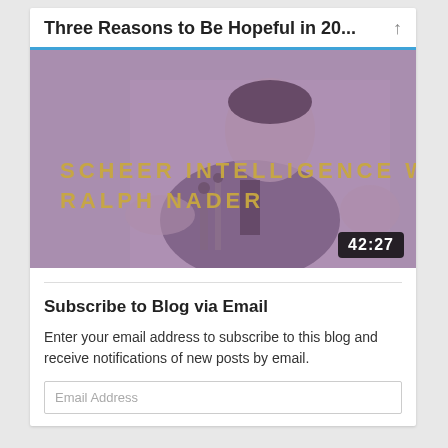Three Reasons to Be Hopeful in 20...
[Figure (screenshot): Video thumbnail showing a man speaking at a podium with microphones. Purple-tinted black and white photo. Text overlay reads 'SCHEER INTELLIGENCE W/ RALPH NADER'. Duration badge shows 42:27 in bottom right corner.]
Subscribe to Blog via Email
Enter your email address to subscribe to this blog and receive notifications of new posts by email.